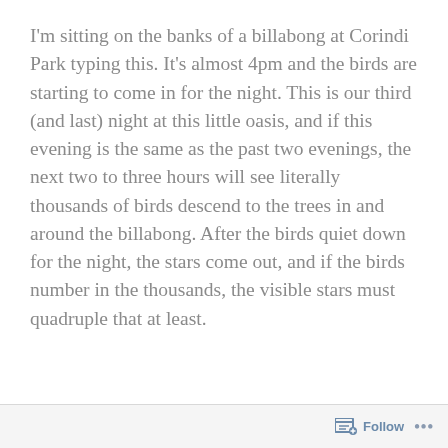I'm sitting on the banks of a billabong at Corindi Park typing this. It's almost 4pm and the birds are starting to come in for the night. This is our third (and last) night at this little oasis, and if this evening is the same as the past two evenings, the next two to three hours will see literally thousands of birds descend to the trees in and around the billabong. After the birds quiet down for the night, the stars come out, and if the birds number in the thousands, the visible stars must quadruple that at least.
Follow ...